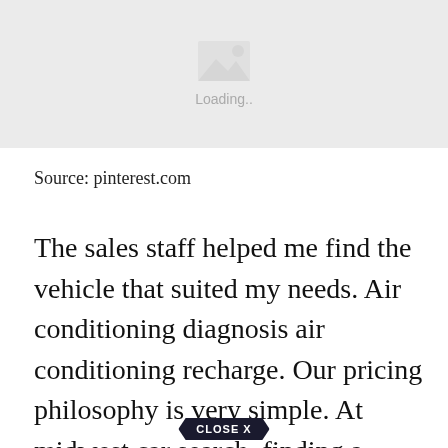[Figure (photo): Image loading placeholder with mountain/landscape icon and 'Loading..' text on a light gray background]
Source: pinterest.com
The sales staff helped me find the vehicle that suited my needs. Air conditioning diagnosis air conditioning recharge. Our pricing philosophy is very simple. At midwest car search, finding a reliable car or truck is easy. Thank... midwest car
[Figure (other): CLOSE X button overlay banner]